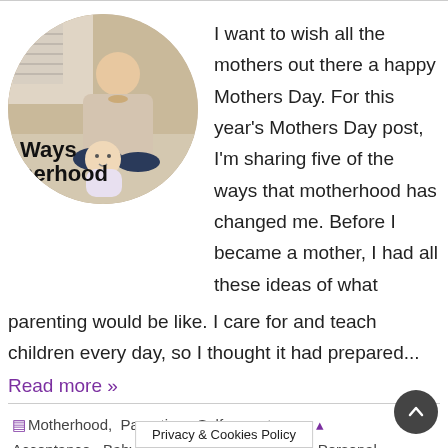[Figure (photo): Circular cropped photo of a mother and baby sitting on the floor. Text overlay reads 'Ways herhood' (partially visible). The mother sits cross-legged behind a baby in a striped outfit.]
I want to wish all the mothers out there a happy Mothers Day. For this year's Mothers Day post, I'm sharing five of the ways that motherhood has changed me. Before I became a mother, I had all these ideas of what parenting would be like. I care for and teach children every day, so I thought it had prepared...
Read more »
Motherhood, Parenting, Self acceptance, Acceptance, Baby, motherhood, Parenting, Personal Development